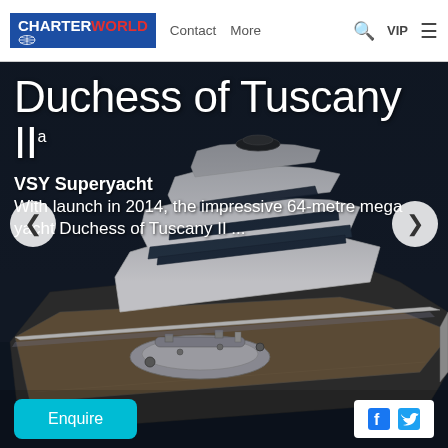CHARTERWORLD | Contact | More | VIP
[Figure (photo): Aerial/top-down view of a large luxury superyacht (Duchess of Tuscany II) with silver/grey hull, multiple deck levels, and tender on aft deck, set against dark water background]
Duchess of Tuscany II
VSY Superyacht
With launch in 2014, the impressive 64-metre mega yacht Duchess of Tuscany II ...
Enquire
[Figure (logo): Facebook and Twitter social media icons in white box]